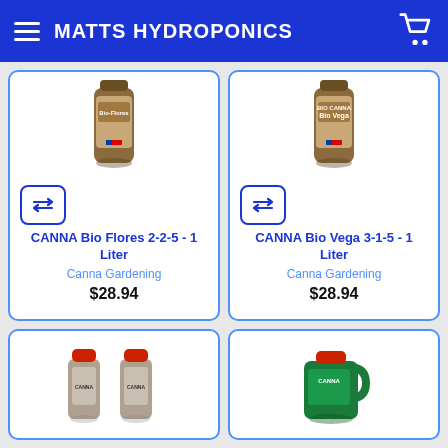MATTS HYDROPONICS
[Figure (photo): CANNA Bio Flores 1 Liter brown bottle product image]
CANNA Bio Flores 2-2-5 - 1 Liter
Canna Gardening
$28.94
[Figure (photo): CANNA Bio Vega 1 Liter brown bottle product image]
CANNA Bio Vega 3-1-5 - 1 Liter
Canna Gardening
$28.94
[Figure (photo): CANNA two-bottle set with red caps product image]
[Figure (photo): CANNA green bottle product image]